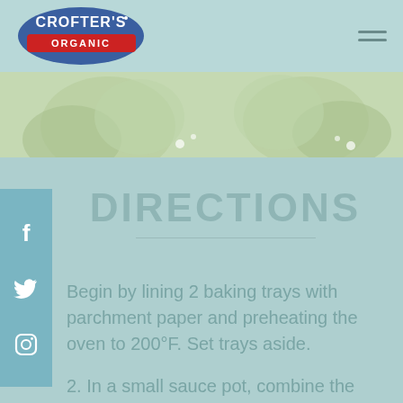Crofter's Organic
[Figure (illustration): Decorative leaf banner with green leaf shapes on light green background]
DIRECTIONS
Begin by lining 2 baking trays with parchment paper and preheating the oven to 200°F. Set trays aside.
2. In a small sauce pot, combine the